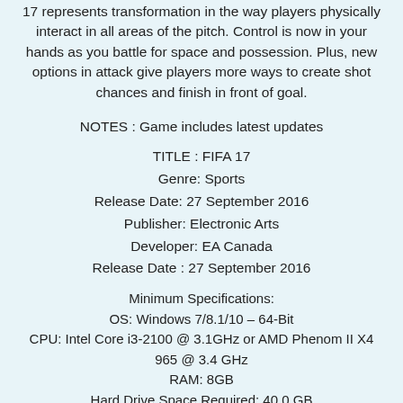17 represents transformation in the way players physically interact in all areas of the pitch. Control is now in your hands as you battle for space and possession. Plus, new options in attack give players more ways to create shot chances and finish in front of goal.
NOTES : Game includes latest updates
TITLE : FIFA 17
Genre: Sports
Release Date: 27 September 2016
Publisher: Electronic Arts
Developer: EA Canada
Release Date : 27 September 2016
Minimum Specifications:
OS: Windows 7/8.1/10 – 64-Bit
CPU: Intel Core i3-2100 @ 3.1GHz or AMD Phenom II X4 965 @ 3.4 GHz
RAM: 8GB
Hard Drive Space Required: 40.0 GB
Minimum Supported Video Cards: NVIDIA GTX 460 or AMD Radeon R7 260